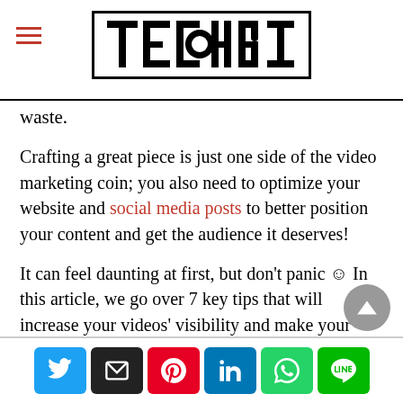TECHBI
waste.
Crafting a great piece is just one side of the video marketing coin; you also need to optimize your website and social media posts to better position your content and get the audience it deserves!
It can feel daunting at first, but don't panic ☺ In this article, we go over 7 key tips that will increase your videos' visibility and make your content rank better in SERPs.
Social share buttons: Twitter, Email, Pinterest, LinkedIn, WhatsApp, LINE